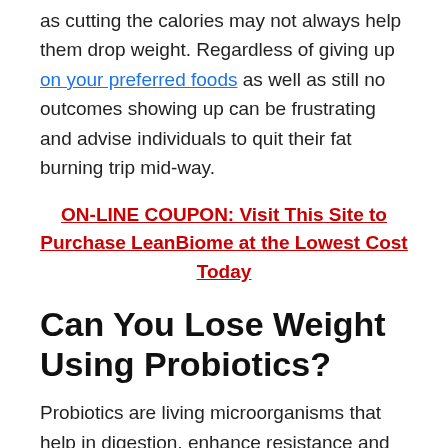as cutting the calories may not always help them drop weight. Regardless of giving up on your preferred foods as well as still no outcomes showing up can be frustrating and advise individuals to quit their fat burning trip mid-way.
ON-LINE COUPON: Visit This Site to Purchase LeanBiome at the Lowest Cost Today
Can You Lose Weight Using Probiotics?
Probiotics are living microorganisms that help in digestion, enhance resistance and govern all body features. Contrary to the normal image of 'bacteria'